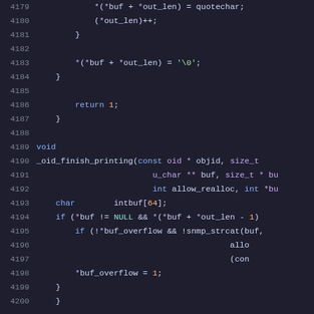[Figure (screenshot): Source code listing showing C code lines 4179-4200, syntax-highlighted on dark background. Code includes closing braces, return statement, void function declaration _oid_finish_printing, variable declarations, and if statements.]